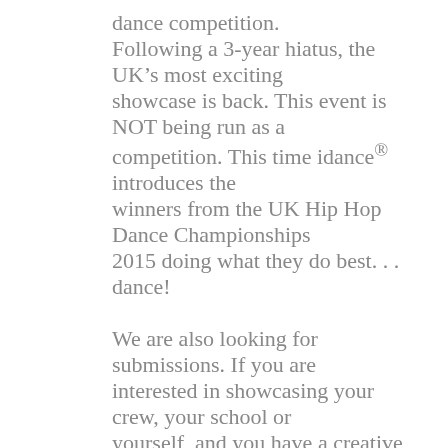dance competition.

Following a 3-year hiatus, the UK's most exciting showcase is back. This event is NOT being run as a competition. This time idance® introduces the winners from the UK Hip Hop Dance Championships 2015 doing what they do best. . . dance!

We are also looking for submissions. If you are interested in showcasing your crew, your school or yourself, and you have a creative piece of